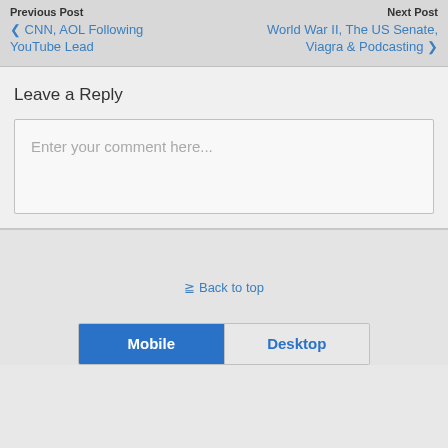Previous Post
‹ CNN, AOL Following YouTube Lead
Next Post
World War II, The US Senate, Viagra & Podcasting ›
Leave a Reply
Enter your comment here...
⇈ Back to top
Mobile   Desktop